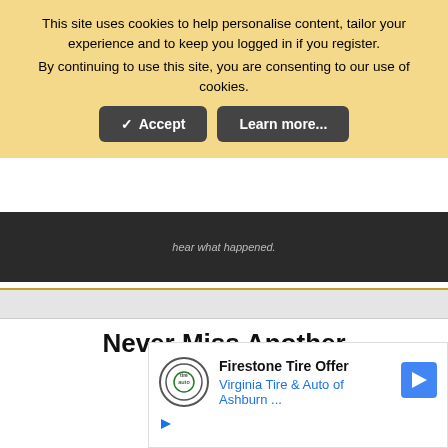This site uses cookies to help personalise content, tailor your experience and to keep you logged in if you register. By continuing to use this site, you are consenting to our use of cookies.
[Figure (screenshot): Cookie consent banner with Accept and Learn more buttons on a yellow/gold background]
[Figure (screenshot): Dark advertisement banner strip]
Never Miss Another Live Show
[Figure (logo): Red YouTube-style play button icon (rounded red square with white triangle)]
Subscribe to
[Figure (screenshot): Advertisement box: Firestone Tire Offer - Virginia Tire & Auto of Ashburn ...]